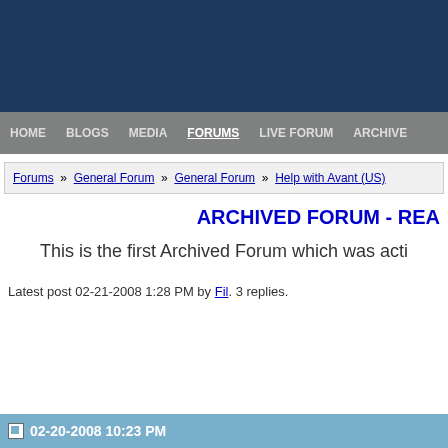HOME  BLOGS  MEDIA  FORUMS  LIVE FORUM  ARCHIVE
Forums » General Forum » General Forum » Help with Avant (US)
ARCHIVED FORUM - READ
This is the first Archived Forum which was acti...
Latest post 02-21-2008 1:28 PM by Fil. 3 replies.
02-20-2008 10:23 PM